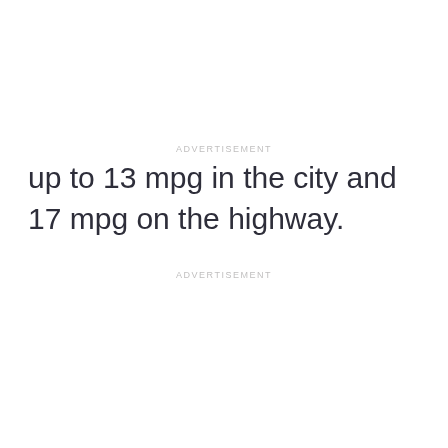ADVERTISEMENT
up to 13 mpg in the city and 17 mpg on the highway.
ADVERTISEMENT